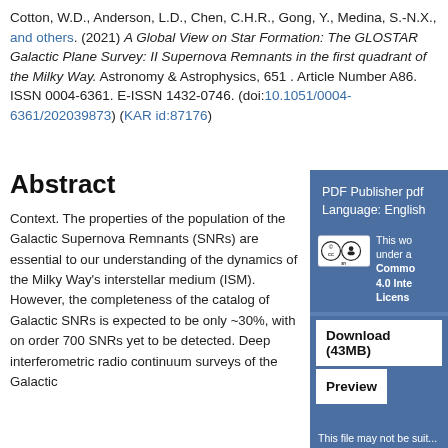Cotton, W.D., Anderson, L.D., Chen, C.H.R., Gong, Y., Medina, S.-N.X., and others. (2021) A Global View on Star Formation: The GLOSTAR Galactic Plane Survey: II Supernova Remnants in the first quadrant of the Milky Way. Astronomy & Astrophysics, 651 . Article Number A86. ISSN 0004-6361. E-ISSN 1432-0746. (doi:10.1051/0004-6361/202039873) (KAR id:87176)
Abstract
Context. The properties of the population of the Galactic Supernova Remnants (SNRs) are essential to our understanding of the dynamics of the Milky Way's interstellar medium (ISM). However, the completeness of the catalog of Galactic SNRs is expected to be only ~30%, with on order 700 SNRs yet to be detected. Deep interferometric radio continuum surveys of the Galactic
[Figure (other): Sidebar panel with blue background showing: PDF Publisher pdf, Language: English, Creative Commons BY license badge, license text about Creative Commons 4.0 International License, Download (43MB) button, Preview button, and partial text 'This file may not be suit...']